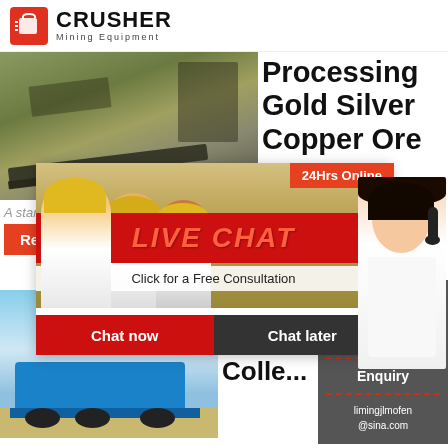[Figure (logo): Crusher Mining Equipment logo with red shopping bag icon and bold text]
[Figure (photo): Mining conveyor belt and equipment on a quarry site]
Processing Gold Silver Copper Ore
A stamp mil...
Read M...
[Figure (photo): Blue mobile crushing machine on an open field]
GOLD SILVER Recor... Colle...
[Figure (screenshot): Live Chat popup overlay with workers in hard hats background, LIVE CHAT heading, Click for a Free Consultation subtitle, Chat now and Chat later buttons, 24Hrs Online badge, and headset lady on right]
Need questions & suggestion?
Chat Now
Enquiry
limingjlmofen@sina.com